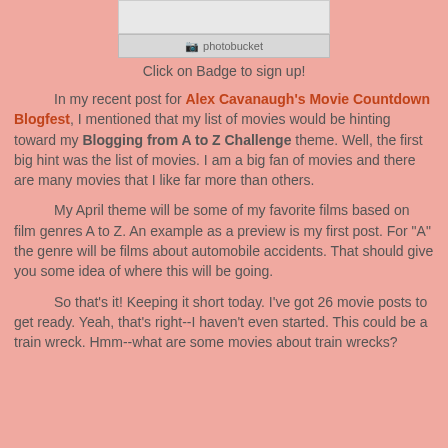[Figure (screenshot): Photobucket image placeholder with grey banner showing photobucket icon and text]
Click on Badge to sign up!
In my recent post for Alex Cavanaugh's Movie Countdown Blogfest, I mentioned that my list of movies would be hinting toward my Blogging from A to Z Challenge theme.  Well, the first big hint was the list of movies.  I am a big fan of movies and there are many movies that I like far more than others.
My April theme will be some of my favorite films based on film genres A to Z.   An example as a preview is my first post.   For "A" the genre will be films about automobile accidents.  That should give you some idea of where this will be going.
So that's it!  Keeping it short today.  I've got 26 movie posts to get ready.  Yeah, that's right--I haven't even started.  This could be a train wreck.   Hmm--what are some movies about train wrecks?